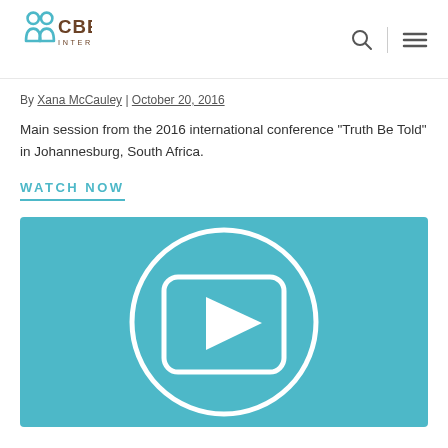CBE International
By Xana McCauley | October 20, 2016
Main session from the 2016 international conference "Truth Be Told" in Johannesburg, South Africa.
WATCH NOW
[Figure (other): Video thumbnail with teal background showing a play button icon (circle with a rounded-square and right-pointing triangle inside)]